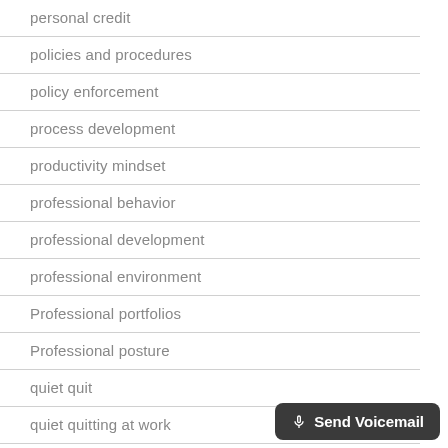personal credit
policies and procedures
policy enforcement
process development
productivity mindset
professional behavior
professional development
professional environment
Professional portfolios
Professional posture
quiet quit
quiet quitting at work